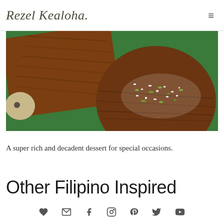Rezel Kealoha
[Figure (photo): Close-up photo of wooden serving boards and a round wooden bowl on a green background, with what appears to be a dessert sprinkled with toppings on the round board.]
A super rich and decadent dessert for special occasions.
Other Filipino Inspired
Social media icons: heart, email, facebook, instagram, pinterest, twitter, youtube